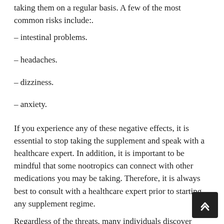taking them on a regular basis. A few of the most common risks include:.
– intestinal problems.
– headaches.
– dizziness.
– anxiety.
If you experience any of these negative effects, it is essential to stop taking the supplement and speak with a healthcare expert. In addition, it is important to be mindful that some nootropics can connect with other medications you may be taking. Therefore, it is always best to consult with a healthcare expert prior to starting any supplement regime.
Regardless of the threats, many individuals discover